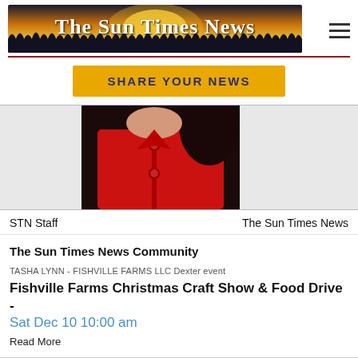[Figure (logo): The Sun Times News newspaper banner logo with golden sunrise and dark silhouetted grass/reeds background, white serif text reading 'The Sun Times News']
[Figure (other): Hamburger menu icon (three horizontal bars) in dark gray]
[Figure (other): Yellow/gold 'SHARE YOUR NEWS' button]
[Figure (photo): Person wearing a red button-up jacket with dark hair, cropped to show torso and chin area only]
STN Staff
The Sun Times News
The Sun Times News Community
TASHA LYNN - FISHVILLE FARMS LLC Dexter event
Fishville Farms Christmas Craft Show & Food Drive -
Sat Dec 10 10:00 am
Read More